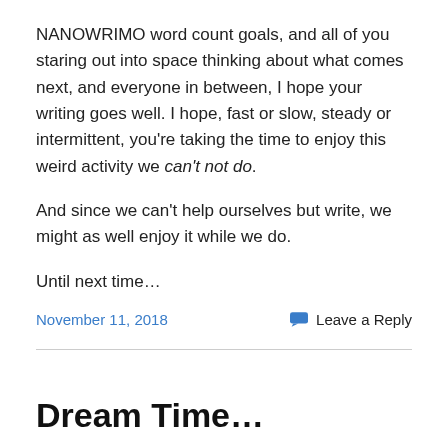NANOWRIMO word count goals, and all of you staring out into space thinking about what comes next, and everyone in between, I hope your writing goes well. I hope, fast or slow, steady or intermittent, you're taking the time to enjoy this weird activity we can't not do.
And since we can't help ourselves but write, we might as well enjoy it while we do.
Until next time…
November 11, 2018   Leave a Reply
Dream Time…